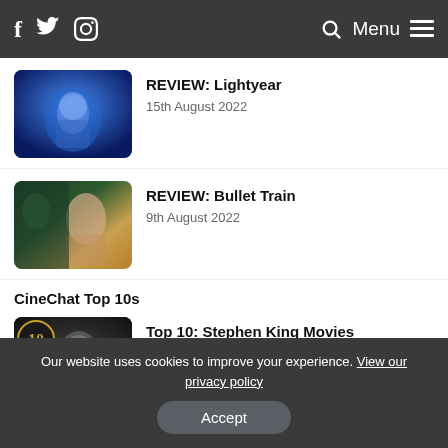f [twitter] [instagram] [search] Menu [hamburger]
REVIEW: Lightyear
15th August 2022
REVIEW: Bullet Train
9th August 2022
CineChat Top 10s
Top 10: Stephen King Movies
15th September 2021
Our website uses cookies to improve your experience. View our privacy policy
Accept